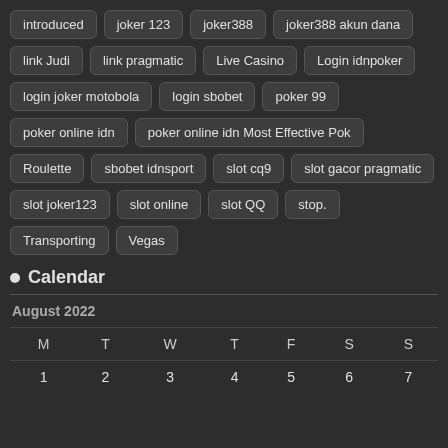introduced
joker 123
joker388
joker388 akun dana
link Judi
link pragmatic
Live Casino
Login idnpoker
login joker motobola
login sbobet
poker 99
poker online idn
poker online idn Most Effective Pok
Roulette
sbobet idnsport
slot cq9
slot gacor pragmatic
slot joker123
slot online
slot QQ
stop.
Transporting
Vegas
Calendar
August 2022
| M | T | W | T | F | S | S |
| --- | --- | --- | --- | --- | --- | --- |
| 1 | 2 | 3 | 4 | 5 | 6 | 7 |